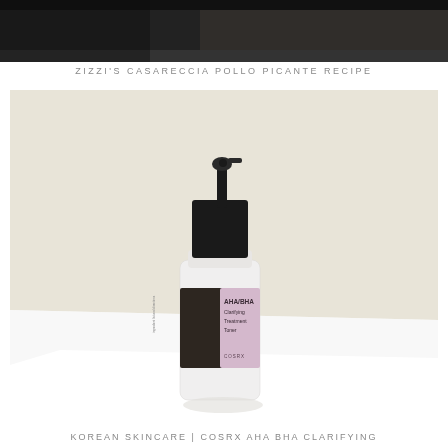[Figure (photo): Dark background image at top of page, partially visible, showing a dark surface or object]
ZIZZI'S CASARECCIA POLLO PICANTE RECIPE
[Figure (photo): COSRX AHA/BHA Clarifying Treatment Toner product bottle with black spray pump cap, frosted/white bottle body with dark label showing product name in pink text and COSRX brand name, set against a cream/beige and white background]
KOREAN SKINCARE | COSRX AHA BHA CLARIFYING